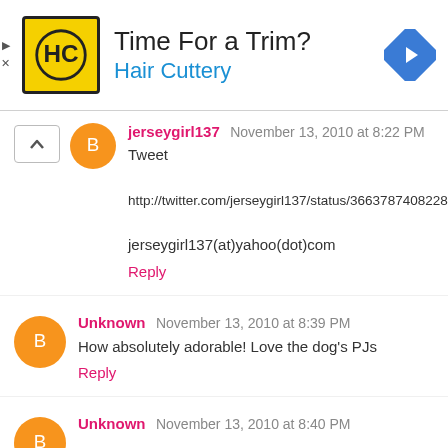[Figure (infographic): Hair Cuttery advertisement banner with logo, 'Time For a Trim?' headline, and navigation arrow icon]
jerseygirl137  November 13, 2010 at 8:22 PM
Tweet

http://twitter.com/jerseygirl137/status/36637874082283535

jerseygirl137(at)yahoo(dot)com

Reply
Unknown  November 13, 2010 at 8:39 PM
How absolutely adorable! Love the dog's PJs
Reply
Unknown  November 13, 2010 at 8:40 PM